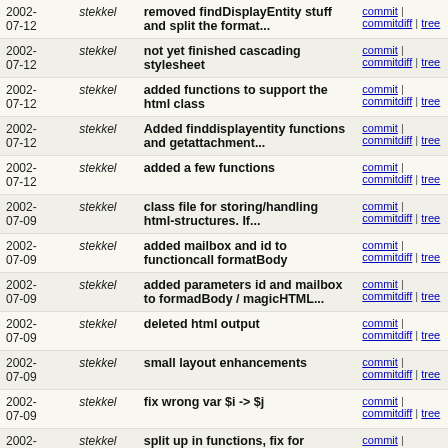| Date | Author | Message | Links |
| --- | --- | --- | --- |
| 2002-07-12 | stekkel | removed findDisplayEntity stuff and split the format... | commit | commitdiff | tree |
| 2002-07-12 | stekkel | not yet finished cascading stylesheet | commit | commitdiff | tree |
| 2002-07-12 | stekkel | added functions to support the html class | commit | commitdiff | tree |
| 2002-07-12 | stekkel | Added finddisplayentity functions and getattachment... | commit | commitdiff | tree |
| 2002-07-12 | stekkel | added a few functions | commit | commitdiff | tree |
| 2002-07-09 | stekkel | class file for storing/handling html-structures. If... | commit | commitdiff | tree |
| 2002-07-09 | stekkel | added mailbox and id to functioncall formatBody | commit | commitdiff | tree |
| 2002-07-09 | stekkel | added parameters id and mailbox to formadBody / magicHTML... | commit | commitdiff | tree |
| 2002-07-09 | stekkel | deleted html output | commit | commitdiff | tree |
| 2002-07-09 | stekkel | small layout enhancements | commit | commitdiff | tree |
| 2002-07-09 | stekkel | fix wrong var $i -> $j | commit | commitdiff | tree |
| 2002-07-09 | stekkel | split up in functions, fix for uid_support, fix for... | commit | commitdiff | tree |
| 2002-07-09 | stekkel | fix for uid support | commit | commitdiff | tree |
| 2002-07-09 | stekkel | fix uid_support... | commit | commitdiff | tree |